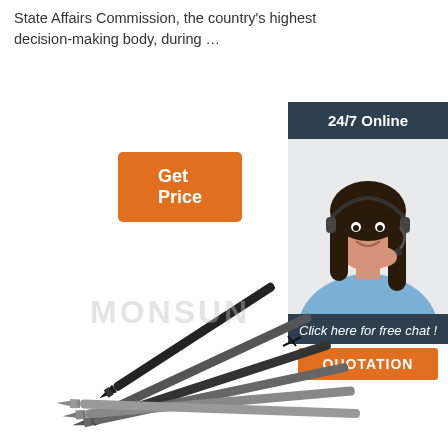State Affairs Commission, the country's highest decision-making body, during …
[Figure (other): Orange 'Get Price' button]
[Figure (other): Sidebar with '24/7 Online' header, photo of woman with headset, 'Click here for free chat!' text, and orange 'QUOTATION' button]
[Figure (photo): Multiple drywall screws fanned out on white background with MONSUN watermark]